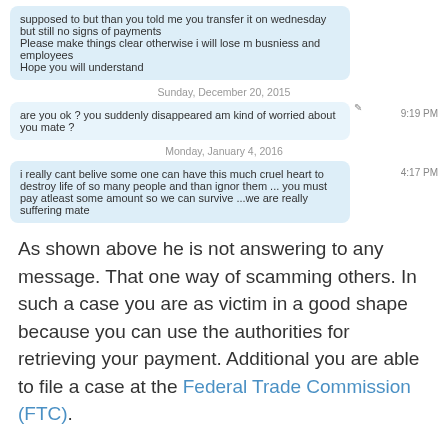[Figure (screenshot): Chat message screenshot showing received messages: 'supposed to but than you told me you transfer it on wednesday but still no signs of payments', 'Please make things clear otherwise i will lose m busniess and employees', 'Hope you will understand'. Date separator 'Sunday, December 20, 2015'. Sent message: 'are you ok ? you suddenly disappeared am kind of worried about you mate ?' with timestamp 9:19 PM. Date separator 'Monday, January 4, 2016'. Received message: 'i really cant belive some one can have this much cruel heart to destroy life of so many people and than ignor them ... you must pay atleast some amount so we can survive ...we are really suffering mate' with timestamp 4:17 PM.]
As shown above he is not answering to any message. That one way of scamming others. In such a case you are as victim in a good shape because you can use the authorities for retrieving your payment. Additional you are able to file a case at the Federal Trade Commission (FTC).
Everybody knows that you can maximize your earnings by forget paying your bills!
Domain registration data of solarenergyconnections.com:
Domain Name:
SOLARENERGYCONNECTIONS.COM